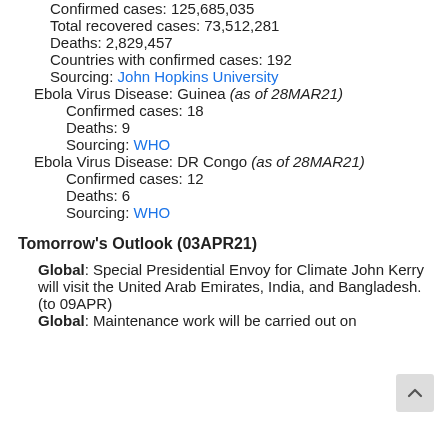Confirmed cases: 125,685,035
Total recovered cases: 73,512,281
Deaths: 2,829,457
Countries with confirmed cases: 192
Sourcing: John Hopkins University
Ebola Virus Disease: Guinea (as of 28MAR21)
Confirmed cases: 18
Deaths: 9
Sourcing: WHO
Ebola Virus Disease: DR Congo (as of 28MAR21)
Confirmed cases: 12
Deaths: 6
Sourcing: WHO
Tomorrow's Outlook (03APR21)
Global: Special Presidential Envoy for Climate John Kerry will visit the United Arab Emirates, India, and Bangladesh. (to 09APR)
Global: Maintenance work will be carried out on